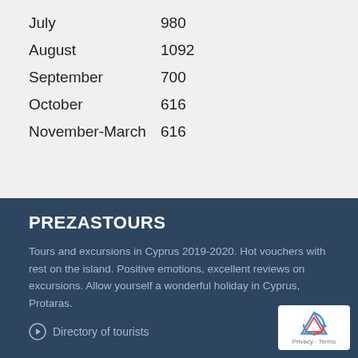July    980
August    1092
September    700
October    616
November-March    616
PREZASTOURS
Tours and excursions in Cyprus 2019-2020. Hot vouchers with rest on the island. Positive emotions, excellent reviews on excursions. Allow yourself a wonderful holiday in Cyprus, Protaras.
Directory of tourists